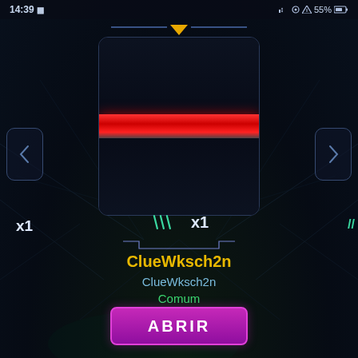14:39  55%
[Figure (screenshot): Mobile game UI screen showing a card/loot box opening interface with a dark background featuring web-like patterns, a card with a red stripe in the center, navigation arrows on sides, tally marks showing x1 count, item name ClueWksch2n in yellow, subtitle ClueWksch2n in cyan, rarity Comum in green, and an ABRIR (open) button in purple at the bottom.]
x1
/// x1
ClueWksch2n
ClueWksch2n
Comum
ABRIR